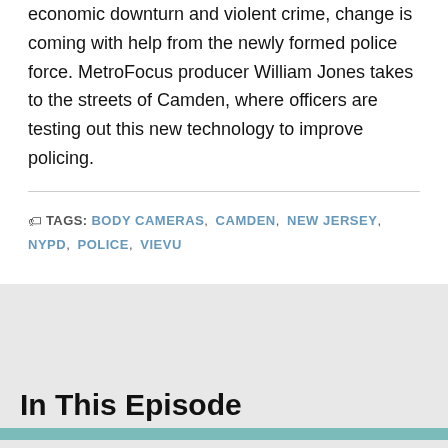economic downturn and violent crime, change is coming with help from the newly formed police force. MetroFocus producer William Jones takes to the streets of Camden, where officers are testing out this new technology to improve policing.
TAGS: BODY CAMERAS, CAMDEN, NEW JERSEY, NYPD, POLICE, VIEVU
In This Episode